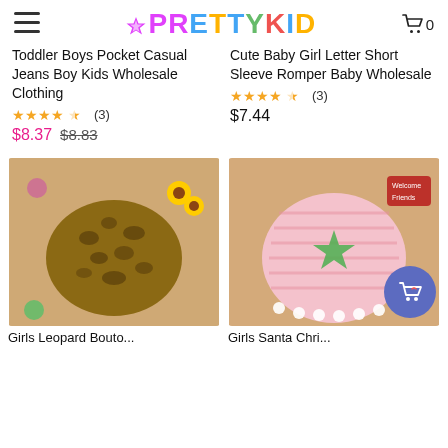PrettyKid — menu and cart (0)
Toddler Boys Pocket Casual Jeans Boy Kids Wholesale Clothing
★★★★★ (3)
$8.37  $8.83
Cute Baby Girl Letter Short Sleeve Romper Baby Wholesale
★★★★★ (3)
$7.44
[Figure (photo): Toddler leopard print jacket on a wooden surface with sunflowers and colorful pom-poms]
[Figure (photo): Pink striped baby girl dress with bell sleeves, star patch, pom-pom hem, and Santa applique, on wooden surface with Christmas decorations]
Girls Leopard Bouto...
Girls Santa Chri...